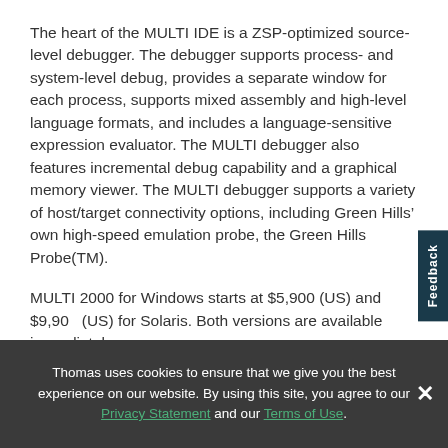The heart of the MULTI IDE is a ZSP-optimized source-level debugger. The debugger supports process- and system-level debug, provides a separate window for each process, supports mixed assembly and high-level language formats, and includes a language-sensitive expression evaluator. The MULTI debugger also features incremental debug capability and a graphical memory viewer. The MULTI debugger supports a variety of host/target connectivity options, including Green Hills' own high-speed emulation probe, the Green Hills Probe(TM).
MULTI 2000 for Windows starts at $5,900 (US) and $9,900 (US) for Solaris. Both versions are available immediately.
More on ZSP
Thomas uses cookies to ensure that we give you the best experience on our website. By using this site, you agree to our Privacy Statement and our Terms of Use.